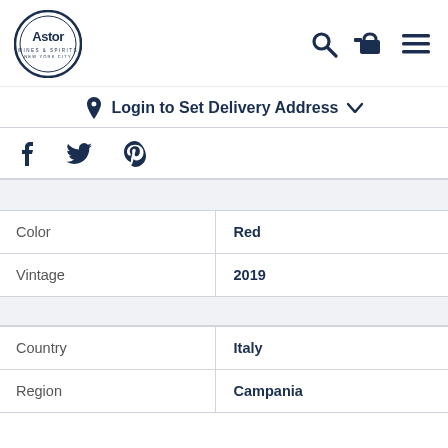Astor Wines & Spirits
Login to Set Delivery Address
|  |  |
| --- | --- |
| Color | Red |
| Vintage | 2019 |
| Country | Italy |
| Region | Campania |